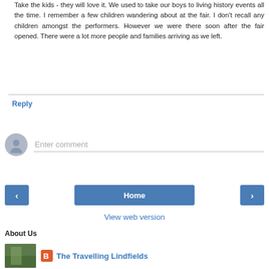Take the kids - they will love it. We used to take our boys to living history events all the time. I remember a few children wandering about at the fair. I don't recall any children amongst the performers. However we were there soon after the fair opened. There were a lot more people and families arriving as we left.
Reply
Enter comment
Home
View web version
About Us
The Travelling Lindfields